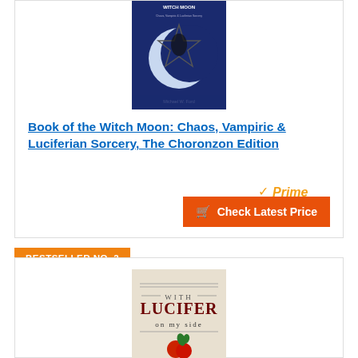[Figure (photo): Book cover of 'Book of the Witch Moon: Chaos, Vampiric & Luciferian Sorcery' by Michael W. Ford, dark blue cover with a pentagram and moon imagery]
Book of the Witch Moon: Chaos, Vampiric & Luciferian Sorcery, The Choronzon Edition
[Figure (logo): Amazon Prime logo with orange checkmark and orange italic Prime text]
Check Latest Price
BESTSELLER NO. 2
[Figure (photo): Book cover of 'With Lucifer on My Side', light colored cover with decorative text and fruit imagery at the bottom]